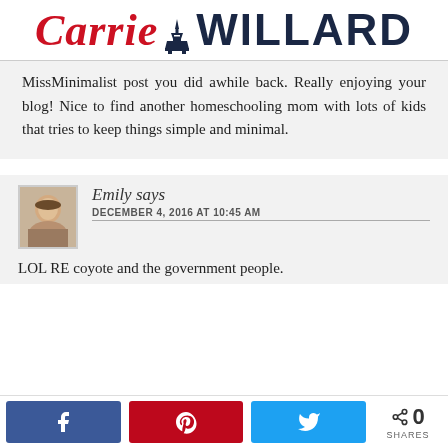[Figure (logo): Carrie Willard blog logo with Eiffel Tower icon between 'Carrie' in red italic script and 'WILLARD' in dark navy bold sans-serif]
MissMinimalist post you did awhile back. Really enjoying your blog! Nice to find another homeschooling mom with lots of kids that tries to keep things simple and minimal.
Emily says
DECEMBER 4, 2016 AT 10:45 AM
LOL RE coyote and the government people.